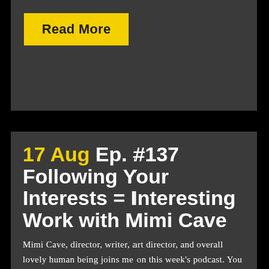Read More
17 Aug Ep. #137 Following Your Interests = Interesting Work with Mimi Cave
Mimi Cave, director, writer, art director, and overall lovely human being joins me on this week's podcast. You may know her